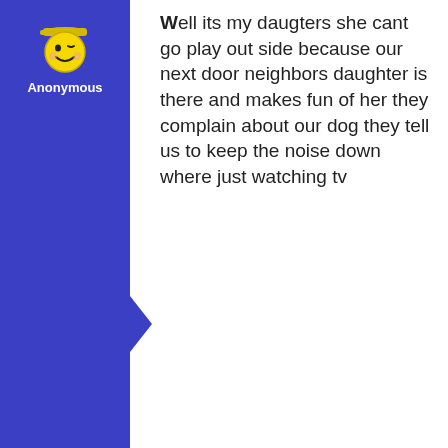[Figure (illustration): Anonymous user avatar - yellow smiley face with wink wearing a cap, on blue background with arrow pointing right]
Anonymous
Well its my daugters she cant go play out side because our next door neighbors daughter is there and makes fun of her they complain about our dog they tell us to keep the noise down where just watching tv
No comments
[Figure (illustration): Sunshine n Lollipops user avatar - yellow smiley face with wink wearing a cap, on blue background with arrow pointing right]
Sunshine n Lollipops
I hate how much it hates them when I park in front of one of their houses! Seriously we have a big family and not everyone fits in the driveway. Deal with it - it is the street!